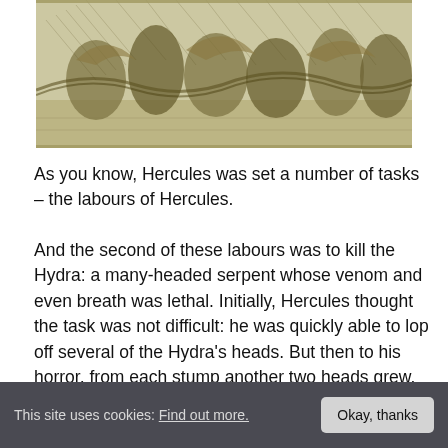[Figure (illustration): An engraving showing classical figures, likely depicting Hercules and the Hydra, in a dense detailed black and white style.]
As you know, Hercules was set a number of tasks – the labours of Hercules.
And the second of these labours was to kill the Hydra: a many-headed serpent whose venom and even breath was lethal. Initially, Hercules thought the task was not difficult: he was quickly able to lop off several of the Hydra's heads. But then to his horror, from each stump another two heads grew. Hercules realised that he was about to be overwhelmed and withdrew.
He called on his nephew to help him. They returned together and, as Hercules cut off each head, his nephew
This site uses cookies: Find out more. Okay, thanks